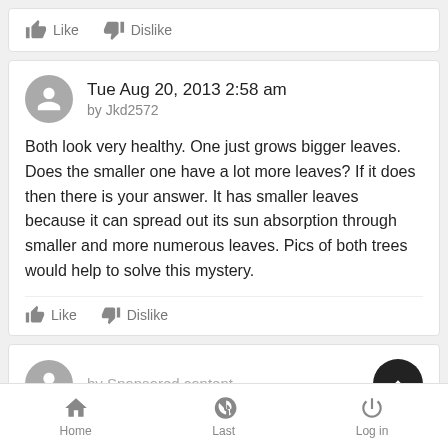[Figure (screenshot): Like and Dislike action buttons at top of page]
Tue Aug 20, 2013 2:58 am
by Jkd2572
Both look very healthy. One just grows bigger leaves. Does the smaller one have a lot more leaves? If it does then there is your answer. It has smaller leaves because it can spread out its sun absorption through smaller and more numerous leaves. Pics of both trees would help to solve this mystery.
[Figure (screenshot): Like and Dislike action buttons below comment]
by Sponsored content
Home   Last   Log in